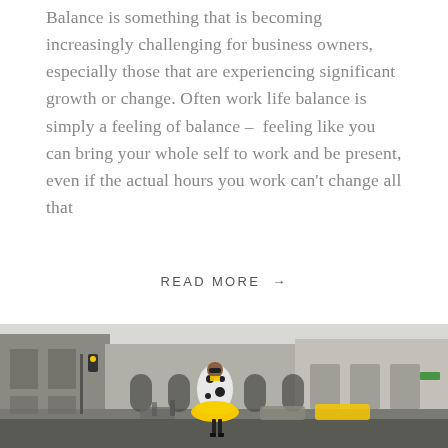Balance is something that is becoming increasingly challenging for business owners, especially those that are experiencing significant growth or change. Often work life balance is simply a feeling of balance – feeling like you can bring your whole self to work and be present, even if the actual hours you work can't change all that
READ MORE →
[Figure (photo): Street photo of a person wearing a black and white spotted coat and a bright yellow tutu skirt, walking on a city street with tall buildings (likely New York City). The scene is captured in a candid style with pedestrians and parked cars visible in the background.]